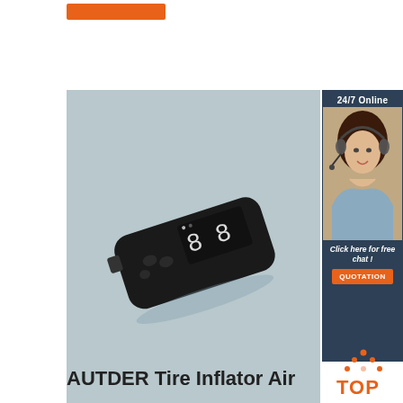[Figure (other): Orange button/banner at top]
[Figure (photo): Black portable tire inflator air pump with digital LED display on a light blue-grey background]
[Figure (photo): Side panel showing 24/7 Online customer service representative with headset, Click here for free chat, and QUOTATION button]
[Figure (logo): TOP logo with orange dotted triangle above orange text TOP]
AUTDER Tire Inflator Air